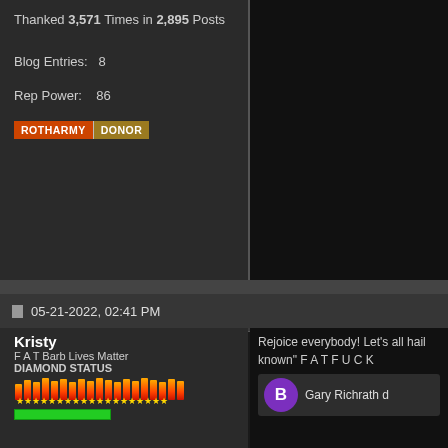Thanked 3,571 Times in 2,895 Posts
Blog Entries: 8
Rep Power: 86
[Figure (other): ROTHARMY DONOR badge buttons]
05-21-2022, 02:41 PM
Kristy
F A T Barb Lives Matter
DIAMOND STATUS
[Figure (illustration): Flame/fire pixel art reputation bar with gold stars]
[Figure (illustration): Green reputation bar]
[Figure (photo): User avatar photo of a person with glasses and curly hair]
Member No: 7609
Join Date: Aug 2004
Last Online: 08-19-2022 @ 08:30 PM
Location: Denver, Colo
Posts: 15,433
Rejoice everybody! Let's all hail known" F A T F U C K
[Figure (other): Embedded post preview with purple B avatar and text: Gary Richrath d]